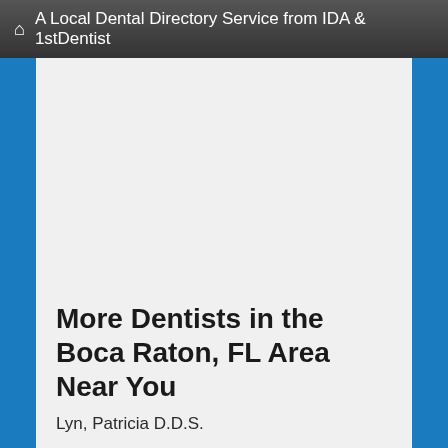A Local Dental Directory Service from IDA & 1stDentist
More Dentists in the Boca Raton, FL Area Near You
Lyn, Patricia D.D.S.